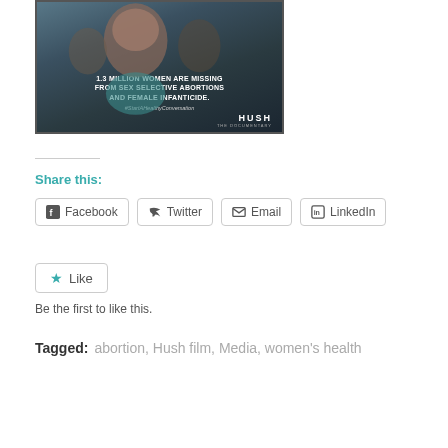[Figure (photo): Dark image showing children with text overlay reading '1.3 MILLION WOMEN ARE MISSING FROM SEX SELECTIVE ABORTIONS AND FEMALE INFANTICIDE. #StartAHealthyConversation HUSH THE DOCUMENTARY']
Share this:
Facebook  Twitter  Email  LinkedIn
★ Like
Be the first to like this.
Tagged: abortion, Hush film, Media, women's health